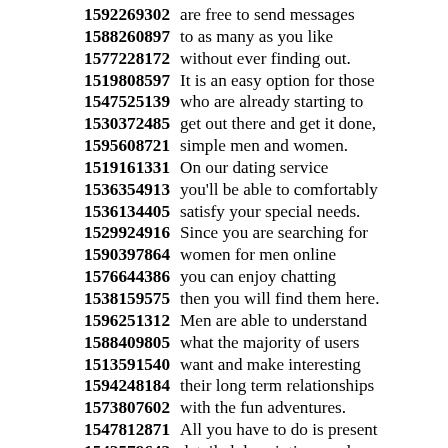1592269302 are free to send messages
1588260897 to as many as you like
1577228172 without ever finding out.
1519808597 It is an easy option for those
1547525139 who are already starting to
1530372485 get out there and get it done,
1595608721 simple men and women.
1519161331 On our dating service
1536354913 you'll be able to comfortably
1536134405 satisfy your special needs.
1529924916 Since you are searching for
1590397864 women for men online
1576644386 you can enjoy chatting
1538159575 then you will find them here.
1596251312 Men are able to understand
1588409805 what the majority of users
1513591540 want and make interesting
1594248184 their long term relationships
1573807602 with the fun adventures.
1547812871 All you have to do is present
1542579643 detailed descriptions and
1555370221 take a look at the ads
1566772559 provided on the Internet for
1518248886 now and start connecting with
1517419289 women are looking for men who
1597879462 ...